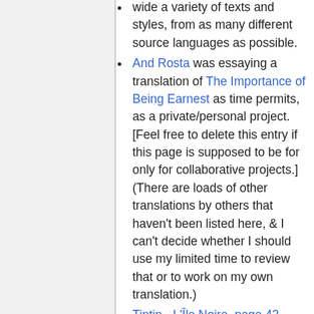wide a variety of texts and styles, from as many different source languages as possible.
And Rosta was essaying a translation of The Importance of Being Earnest as time permits, as a private/personal project. [Feel free to delete this entry if this page is supposed to be for only for collaborative projects.] (There are loads of other translations by others that haven't been listed here, & I can't decide whether I should use my limited time to review that or to work on my own translation.)
Tintin - L'Île Noire, page 42 - may be followed by a complete translation if allowed by the rights owner (still in discussion).
New learning material: Please record